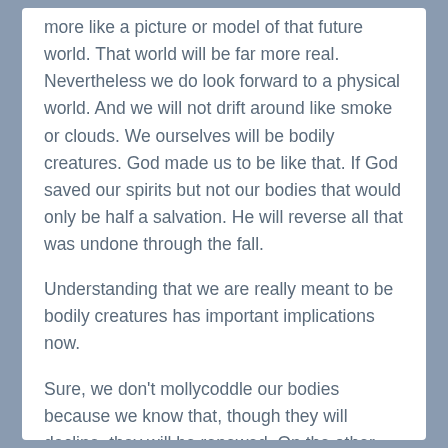more like a picture or model of that future world. That world will be far more real. Nevertheless we do look forward to a physical world. And we will not drift around like smoke or clouds. We ourselves will be bodily creatures. God made us to be like that. If God saved our spirits but not our bodies that would only be half a salvation. He will reverse all that was undone through the fall.
Understanding that we are really meant to be bodily creatures has important implications now.
Sure, we don’t mollycoddle our bodies because we know that, though they will decline, they will be renewed. On the other